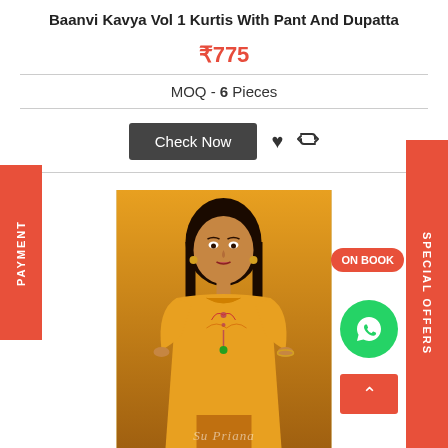Baanvi Kavya Vol 1 Kurtis With Pant And Dupatta
₹775
MOQ - 6 Pieces
Check Now
[Figure (photo): Woman model wearing a yellow/orange embroidered kurti, with Baanvi brand watermark and logo visible in the product image]
PAYMENT
SPECIAL OFFERS
ON BOOK